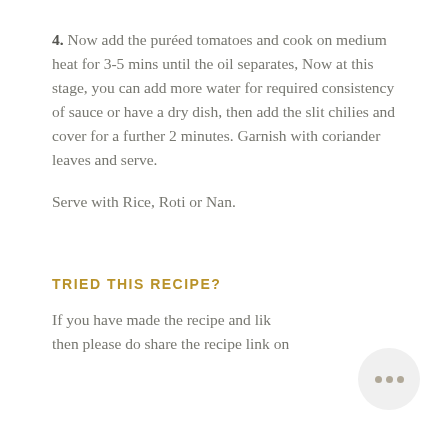4. Now add the puréed tomatoes and cook on medium heat for 3-5 mins until the oil separates, Now at this stage, you can add more water for required consistency of sauce or have a dry dish, then add the slit chilies and cover for a further 2 minutes. Garnish with coriander leaves and serve.
Serve with Rice, Roti or Nan.
TRIED THIS RECIPE?
If you have made the recipe and like then please do share the recipe link on